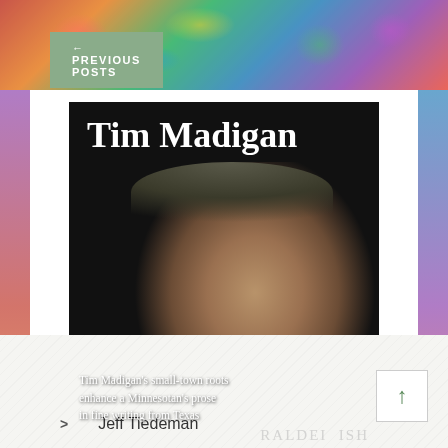← PREVIOUS POSTS
[Figure (photo): Portrait of Tim Madigan against black background with text overlay: 'Tim Madigan's small-town roots enhance a Minnesotan's prose in fine writing from Texas'. Watermark reads 'RALDED...ISH'. Name 'Tim Madigan' appears in large white serif font at top of image.]
Contributors
Jeff Tiedeman